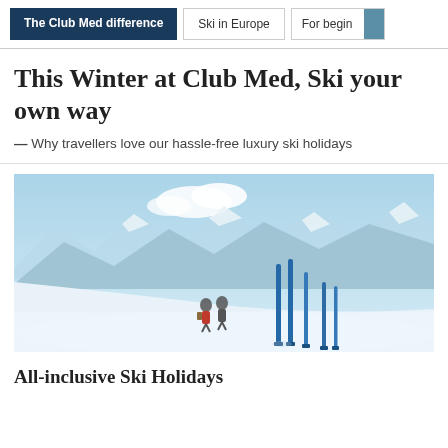The Club Med difference | Ski in Europe | For begin...
This Winter at Club Med, Ski your own way
— Why travellers love our hassle-free luxury ski holidays
[Figure (photo): Two skiers on a snowy mountain slope with blue skis planted upright in the snow and snow-covered mountain peaks in the background under a clear blue sky.]
All-inclusive Ski Holidays